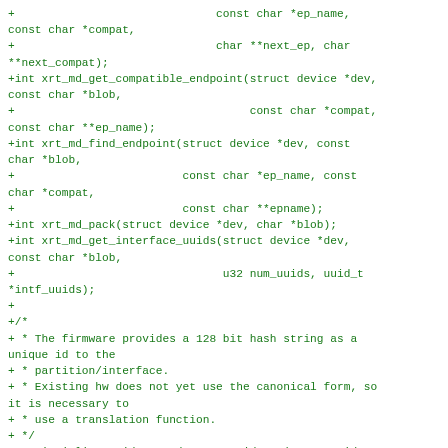+                              const char *ep_name,
const char *compat,
+                              char **next_ep, char
**next_compat);
+int xrt_md_get_compatible_endpoint(struct device *dev,
const char *blob,
+                                   const char *compat,
const char **ep_name);
+int xrt_md_find_endpoint(struct device *dev, const
char *blob,
+                         const char *ep_name, const
char *compat,
+                         const char **epname);
+int xrt_md_pack(struct device *dev, char *blob);
+int xrt_md_get_interface_uuids(struct device *dev,
const char *blob,
+                               u32 num_uuids, uuid_t
*intf_uuids);
+
+/*
+ * The firmware provides a 128 bit hash string as a
unique id to the
+ * partition/interface.
+ * Existing hw does not yet use the canonical form, so
it is necessary to
+ * use a translation function.
+ */
+static inline void xrt_md_trans_uuid2str(const uuid_t
*uuid, char *uuidstr)
+{